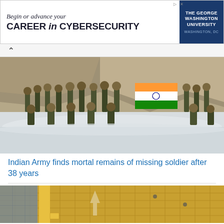[Figure (other): Advertisement banner: 'Begin or advance your CAREER in CYBERSECURITY' - The George Washington University, Washington DC]
[Figure (photo): Indian Army soldiers in camouflage uniforms posing in snowy terrain, some kneeling, holding the Indian national flag (saffron, white, green with Ashoka Chakra) against a rocky hillside backdrop]
Indian Army finds mortal remains of missing soldier after 38 years
[Figure (photo): Partial view of a building exterior with yellow tile facade and glass panels, partially obscured]